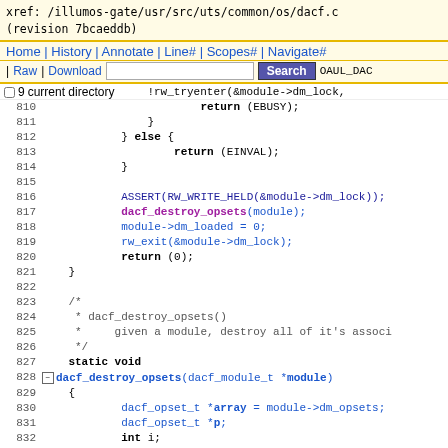xref: /illumos-gate/usr/src/uts/common/os/dacf.c
(revision 7bcaeddb)
Home | History | Annotate | Line# | Scopes# | Navigate#
| Raw | Download  [Search]  OAUL_DAC
9 current directory   !rw_tryenter(&module->dm_lock,
810     return (EBUSY);
811                 }
812             } else {
813                 return (EINVAL);
814             }
815
816             ASSERT(RW_WRITE_HELD(&module->dm_lock));
817             dacf_destroy_opsets(module);
818             module->dm_loaded = 0;
819             rw_exit(&module->dm_lock);
820             return (0);
821     }
822
823     /*
824      * dacf_destroy_opsets()
825      *     given a module, destroy all of it's associ
826      */
827     static void
828  [+]dacf_destroy_opsets(dacf_module_t *module)
829     {
830             dacf_opset_t *array = module->dm_opsets;
831             dacf_opset_t *p;
832             int i;